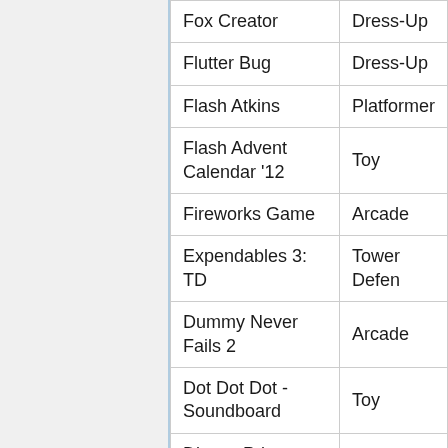| Game | Genre |
| --- | --- |
| Fox Creator | Dress-Up |
| Flutter Bug | Dress-Up |
| Flash Atkins | Platformer |
| Flash Advent Calendar '12 | Toy |
| Fireworks Game | Arcade |
| Expendables 3: TD | Tower Defen... |
| Dummy Never Fails 2 | Arcade |
| Dot Dot Dot - Soundboard | Toy |
| Disney Prince Crossdress | Dress-Up |
| Deep Sea Explorer | Arcade |
| Date T-Series: The PewDiePie Dating Sim | Dating Sim |
| Dance with Chimmy! | Toy |
| Da Best Gaem | Arcade |
| Cult Classic | Puzzle |
| Cooking Momo - The |  |